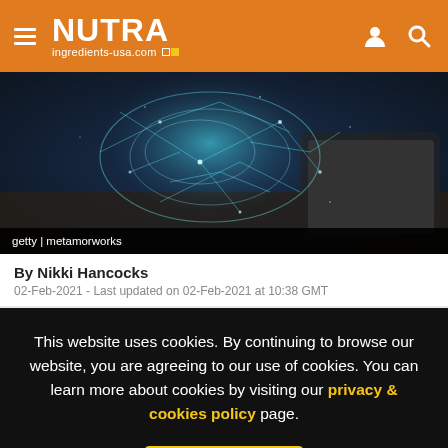NUTRA ingredients-usa.com
[Figure (photo): Dark technology themed hero image showing a glowing digital brain/network visualization over a desk with tablet devices. Caption: getty | metamorworks]
getty | metamorworks
By Nikki Hancocks
02-Feb-2021 - Last updated on 02-Feb-2021 at 10:38 GMT
This website uses cookies. By continuing to browse our website, you are agreeing to our use of cookies. You can learn more about cookies by visiting our privacy & cookies policy page.